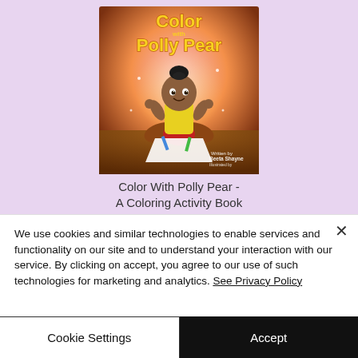[Figure (illustration): Book cover of 'Color With Polly Pear - A Coloring Activity Book'. Shows a cartoon baby girl with a bun hairstyle sitting cross-legged with crayons on paper, on a warm gradient background. Title in yellow outlined text at top. Author: Beeta Shayne.]
Color With Polly Pear -
A Coloring Activity Book
We use cookies and similar technologies to enable services and functionality on our site and to understand your interaction with our service. By clicking on accept, you agree to our use of such technologies for marketing and analytics. See Privacy Policy